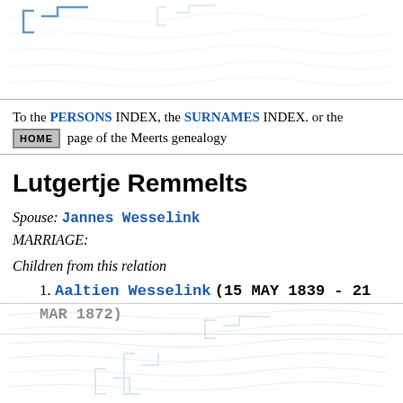[Figure (illustration): Decorative manuscript background with handwritten text watermark, blue bracket/bracket symbols in top left corner]
To the PERSONS INDEX, the SURNAMES INDEX. or the HOME page of the Meerts genealogy
Lutgertje Remmelts
Spouse: Jannes Wesselink
MARRIAGE:
Children from this relation
1. Aaltien Wesselink (15 MAY 1839 - 21 MAR 1872)
[Figure (illustration): Decorative manuscript background with handwritten text watermark and blue bracket symbols in lower portion of page]